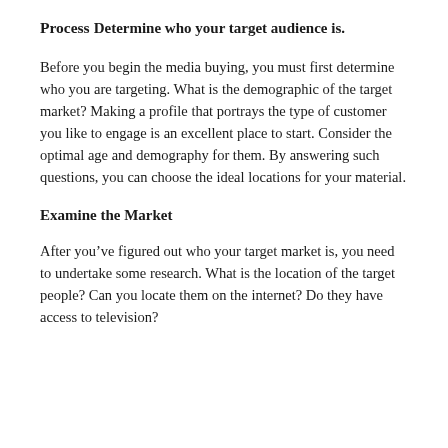Process
Determine who your target audience is.
Before you begin the media buying, you must first determine who you are targeting. What is the demographic of the target market? Making a profile that portrays the type of customer you like to engage is an excellent place to start. Consider the optimal age and demography for them. By answering such questions, you can choose the ideal locations for your material.
Examine the Market
After you’ve figured out who your target market is, you need to undertake some research. What is the location of the target people? Can you locate them on the internet? Do they have access to television?